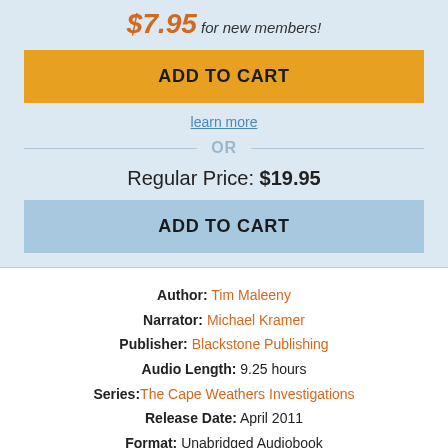$7.95 for new members!
ADD TO CART
learn more
OR
Regular Price: $19.95
ADD TO CART
Author: Tim Maleeny
Narrator: Michael Kramer
Publisher: Blackstone Publishing
Audio Length: 9.25 hours
Series: The Cape Weathers Investigations
Release Date: April 2011
Format: Unabridged Audiobook
Delivery: Instant Download
ISBN: 9781481588423